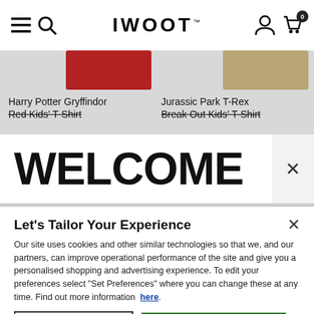IWOOT navigation bar with menu, search, user, and cart icons
Harry Potter Gryffindor Red Kids' T-Shirt
Jurassic Park T-Rex Break Out Kids' T-Shirt
WELCOME
Let's Tailor Your Experience
Our site uses cookies and other similar technologies so that we, and our partners, can improve operational performance of the site and give you a personalised shopping and advertising experience. To edit your preferences select "Set Preferences" where you can change these at any time. Find out more information here.
Set Preferences
That's OK